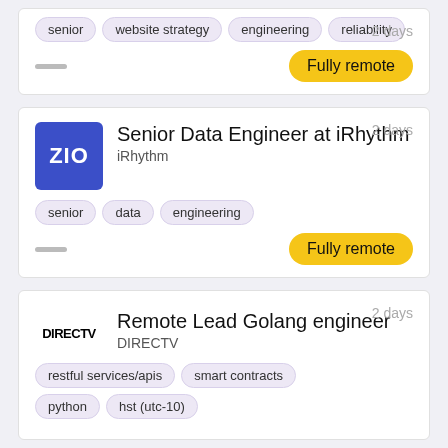senior, website strategy, engineering, reliability — Fully remote — 2 days
Senior Data Engineer at iRhythm — iRhythm — senior, data, engineering — Fully remote — 2 days
Remote Lead Golang engineer — DIRECTV — restful services/apis, smart contracts, python, hst (utc-10) — 2 days